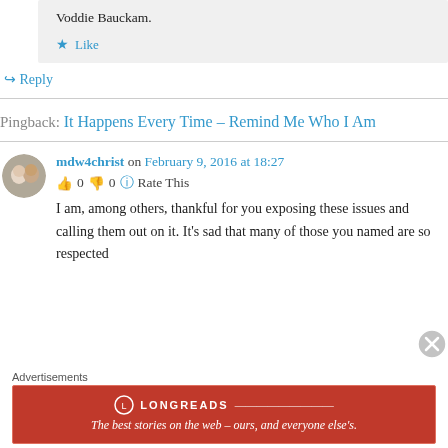Voddie Bauckam.
Like
Reply
Pingback: It Happens Every Time – Remind Me Who I Am
mdw4christ on February 9, 2016 at 18:27
0  0  Rate This
I am, among others, thankful for you exposing these issues and calling them out on it. It's sad that many of those you named are so respected
Advertisements
[Figure (screenshot): Longreads advertisement banner with red background. Logo and tagline: The best stories on the web – ours, and everyone else's.]